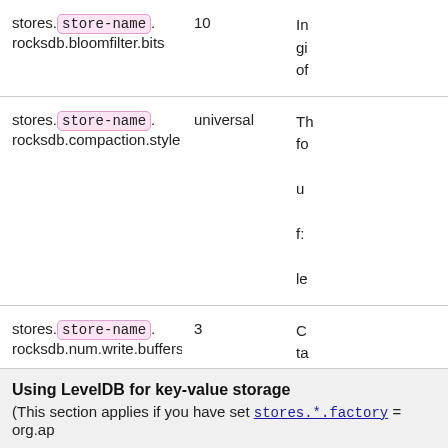| Property | Default | Description |
| --- | --- | --- |
| stores.[store-name].rocksdb.bloomfilter.bits | 10 | In... gi... of... |
| stores.[store-name].rocksdb.compaction.style | universal | Th... fo... u... f... le... |
| stores.[store-name].rocksdb.num.write.buffers | 3 | C... ta... |
Using LevelDB for key-value storage
(This section applies if you have set stores.*.factory = org.ap